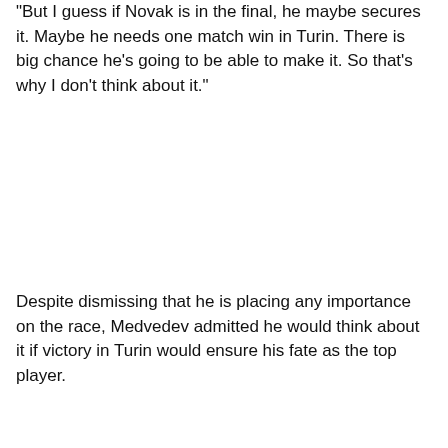"But I guess if Novak is in the final, he maybe secures it. Maybe he needs one match win in Turin. There is big chance he's going to be able to make it. So that's why I don't think about it."
Despite dismissing that he is placing any importance on the race, Medvedev admitted he would think about it if victory in Turin would ensure his fate as the top player.
[Figure (other): Advertisement banner with teal/dark green background showing text 'Say goodbye to...' with a close button (X) in top right corner, a 'TOP' scroll-to-top button on the right side, and wave decoration at the bottom.]